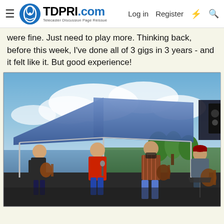TDPRI.com | Telecaster Discussion Page Reissue | Log in | Register
were fine. Just need to play more. Thinking back, before this week, I've done all of 3 gigs in 3 years - and it felt like it. But good experience!
[Figure (photo): Outdoor band performance under a blue canopy tent near a lake. Four musicians are visible: one playing guitar on the left, one in a red shirt playing guitar in the center-left, one in a plaid shirt playing guitar in the center-right, and one seated on the right wearing a red cap playing guitar. Green trees and a body of water are visible in the background under a partly cloudy sky.]